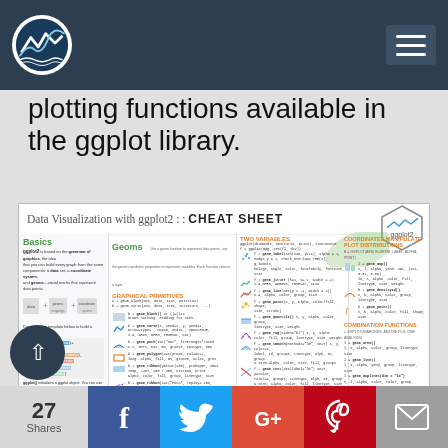plotting functions available in the ggplot library.
[Figure (screenshot): Data Visualization with ggplot2 cheat sheet thumbnail showing Basics, Geoms, Two Variables, and other sections with code examples and visual icons]
27 Shares | Facebook | Twitter | Google+ | Pinterest | Email